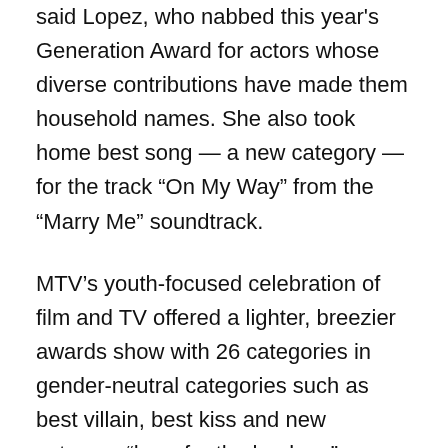said Lopez, who nabbed this year's Generation Award for actors whose diverse contributions have made them household names. She also took home best song — a new category — for the track “On My Way” from the “Marry Me” soundtrack.
MTV’s youth-focused celebration of film and TV offered a lighter, breezier awards show with 26 categories in gender-neutral categories such as best villain, best kiss and new category “here for the hookup.” Hosted by Vanessa Hudgens, the ceremony returned to a live format after being pre-recorded for several years.